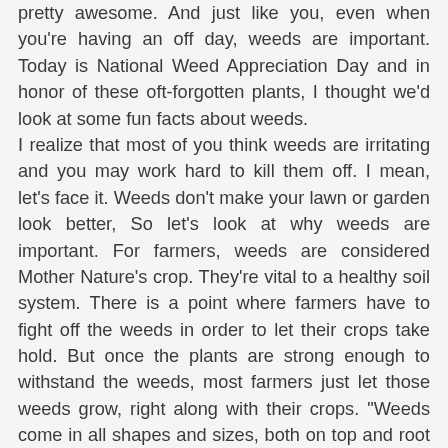pretty awesome. And just like you, even when you're having an off day, weeds are important. Today is National Weed Appreciation Day and in honor of these oft-forgotten plants, I thought we'd look at some fun facts about weeds. I realize that most of you think weeds are irritating and you may work hard to kill them off. I mean, let's face it. Weeds don't make your lawn or garden look better, So let's look at why weeds are important. For farmers, weeds are considered Mother Nature's crop. They're vital to a healthy soil system. There is a point where farmers have to fight off the weeds in order to let their crops take hold. But once the plants are strong enough to withstand the weeds, most farmers just let those weeds grow, right along with their crops. "Weeds come in all shapes and sizes, both on top and root structure. Some weeds are vines to cover and protect the soil, some are tall and woody, some have thin and abundant roots, like grasses, and some have a single taproot, like a turnip." The thing that separates weeds from garden plants is they grow much faster. They grow faster by design; their main purpose is to build soil. Some, at one of several, but no, some, or not, be.